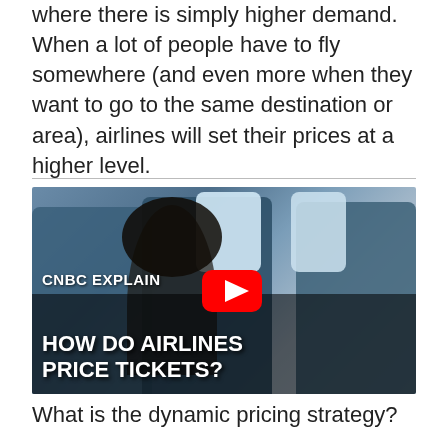where there is simply higher demand. When a lot of people have to fly somewhere (and even more when they want to go to the same destination or area), airlines will set their prices at a higher level.
[Figure (screenshot): CNBC Explains video thumbnail showing airplane passengers seated in economy class, with YouTube play button overlay. Title reads 'HOW DO AIRLINES PRICE TICKETS?' with 'CNBC EXPLAINS' label.]
What is the dynamic pricing strategy?